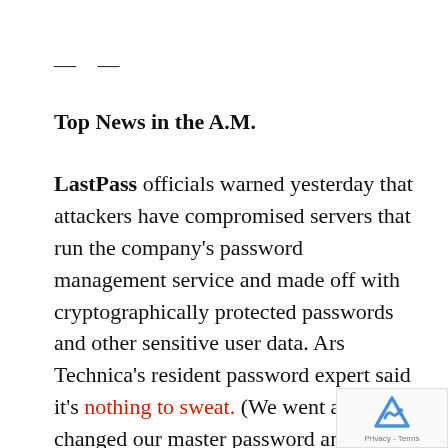— —
Top News in the A.M.
LastPass officials warned yesterday that attackers have compromised servers that run the company's password management service and made off with cryptographically protected passwords and other sensitive user data. Ars Technica's resident password expert said it's nothing to sweat. (We went ahead and changed our master password anywa